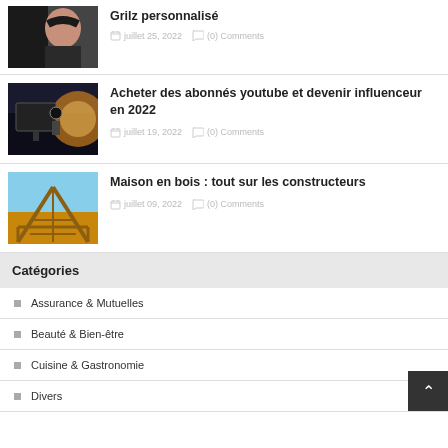[Figure (photo): Portrait photo of a woman with dark hair making an expression]
Grilz personnalisé
juillet 25, 2022  (0) Comments
[Figure (photo): Person working at a desk with computer and camera equipment, backlit by sunset]
Acheter des abonnés youtube et devenir influenceur en 2022
juillet 19, 2022  (0) Comments
[Figure (photo): Wooden house frame under construction against blue sky]
Maison en bois : tout sur les constructeurs
juillet 09, 2022  (0) Comments
Catégories
Assurance & Mutuelles
Beauté & Bien-être
Cuisine & Gastronomie
Divers